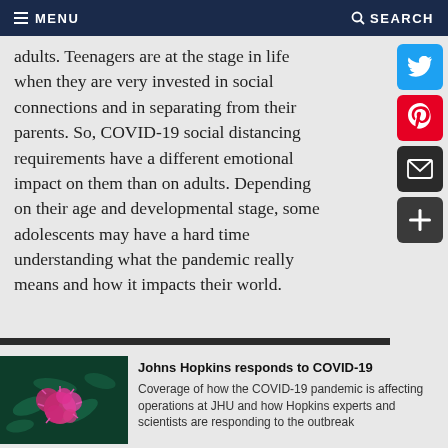MENU  SEARCH
adults. Teenagers are at the stage in life when they are very invested in social connections and in separating from their parents. So, COVID-19 social distancing requirements have a different emotional impact on them than on adults. Depending on their age and developmental stage, some adolescents may have a hard time understanding what the pandemic really means and how it impacts their world.
[Figure (photo): Microscopic image of COVID-19 virus particles, pink/magenta colored spherical virus on dark teal background]
Johns Hopkins responds to COVID-19
Coverage of how the COVID-19 pandemic is affecting operations at JHU and how Hopkins experts and scientists are responding to the outbreak
Marshall: Two of the developmental tasks of adolescence are to develop social skills and